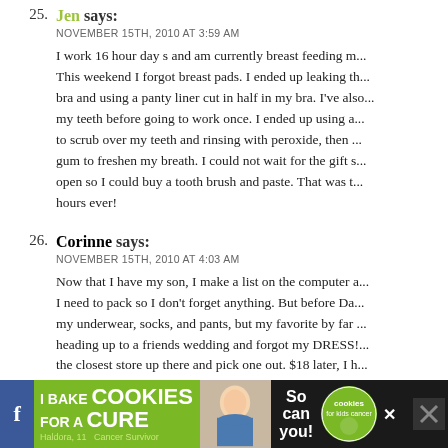25. Jen says: NOVEMBER 15TH, 2010 AT 3:59 AM
I work 16 hour day s and am currently breast feeding m... This weekend I forgot breast pads. I ended up leaking th... bra and using a panty liner cut in half in my bra. I've also... my teeth before going to work once. I ended up using a... to scrub over my teeth and rinsing with peroxide, then ... gum to freshen my breath. I could not wait for the gift s... open so I could buy a tooth brush and paste. That was t... hours ever!
26. Corinne says: NOVEMBER 15TH, 2010 AT 4:03 AM
Now that I have my son, I make a list on the computer a... I need to pack so I don't forget anything. But before Da... my underwear, socks, and pants, but my favorite by far ... heading up to a friends wedding and forgot my DRESS!... the closest store up there and pick one out. $18 later, I h...
[Figure (infographic): Advertisement banner: I Bake COOKIES For A CURE with photo of a girl and cookies logo]